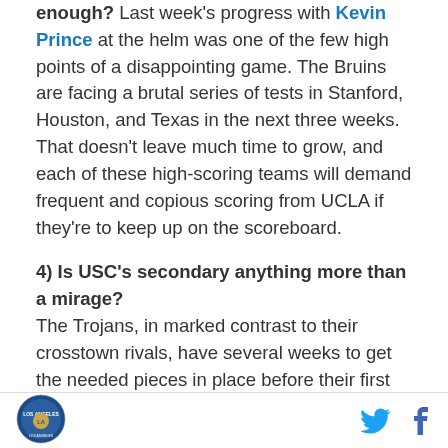enough? Last week's progress with Kevin Prince at the helm was one of the few high points of a disappointing game. The Bruins are facing a brutal series of tests in Stanford, Houston, and Texas in the next three weeks. That doesn't leave much time to grow, and each of these high-scoring teams will demand frequent and copious scoring from UCLA if they're to keep up on the scoreboard.
4) Is USC's secondary anything more than a mirage?
The Trojans, in marked contrast to their crosstown rivals, have several weeks to get the needed pieces in place before their first serious challenge, when Washington comes to town Oct. 2. Virginia's "only" an ACC team, but they're fielding an
[Figure (logo): Los Angeles circular logo/seal]
[Figure (other): Twitter bird icon and Facebook f icon]